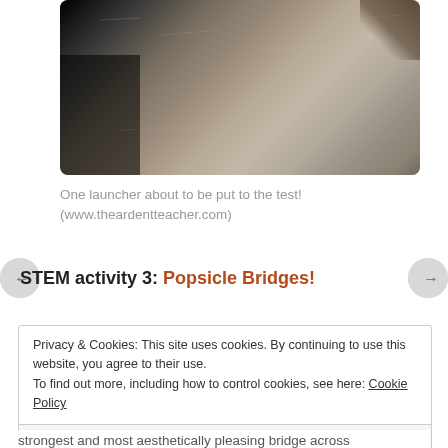[Figure (photo): Close-up photo of a concrete or stone surface with a dark shadow on the left side. Part of a launcher about to be tested.]
One launcher about to be put to the test!
(www.theardentteacher.com)
STEM activity 3: Popsicle Bridges!
Privacy & Cookies: This site uses cookies. By continuing to use this website, you agree to their use.
To find out more, including how to control cookies, see here: Cookie Policy
Close and accept
strongest and most aesthetically pleasing bridge across